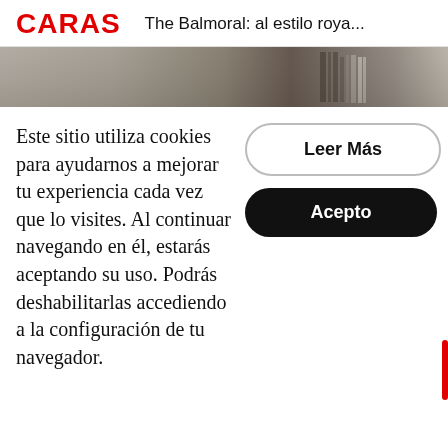CARAS   The Balmoral: al estilo roya...
[Figure (photo): Partial banner image at top of article, showing a building or outdoor scene in muted tones]
Este sitio utiliza cookies para ayudarnos a mejorar tu experiencia cada vez que lo visites. Al continuar navegando en él, estarás aceptando su uso. Podrás deshabilitarlas accediendo a la configuración de tu navegador.
Leer Más
Acepto